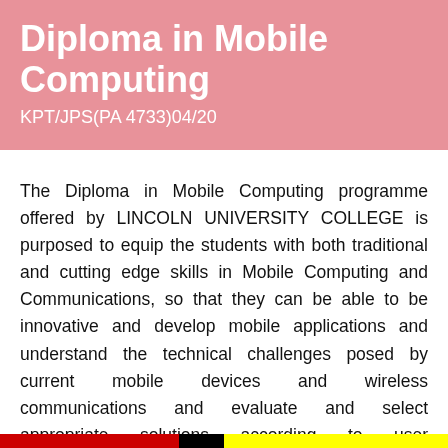Diploma in Mobile Computing
KPT/JPS(PA 4733)04/20
The Diploma in Mobile Computing programme offered by LINCOLN UNIVERSITY COLLEGE is purposed to equip the students with both traditional and cutting edge skills in Mobile Computing and Communications, so that they can be able to be innovative and develop mobile applications and understand the technical challenges posed by current mobile devices and wireless communications and evaluate and select appropriate solutions according to user requirements.